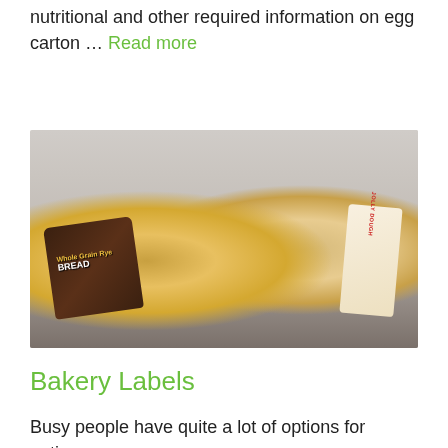nutritional and other required information on egg carton … Read more
[Figure (photo): Two loaves of bread in packaging on a dark surface. Left package shows 'Whole Grain Rye BREAD' with a dark brown label. Right package shows 'Jolly Dough' brand bread.]
Bakery Labels
Busy people have quite a lot of options for eating on